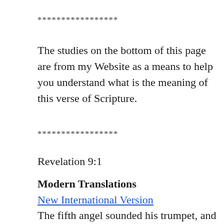*****************
The studies on the bottom of this page are from my Website as a means to help you understand what is the meaning of this verse of Scripture.
*****************
Revelation 9:1
Modern Translations
New International Version
The fifth angel sounded his trumpet, and I saw a star that had fallen from the sky to the earth.